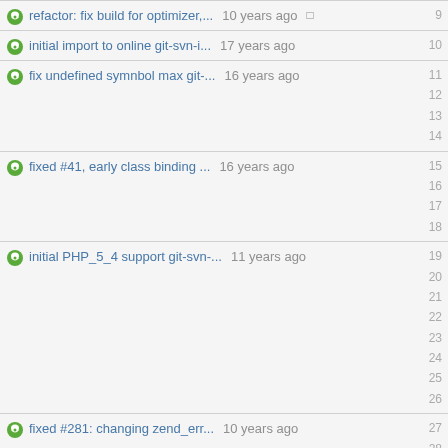refactor: fix build for optimizer,... 10 years ago  9
initial import to online git-svn-i... 17 years ago  10
fix undefined symnbol max git-... 16 years ago  11 12 13 14
fixed #41, early class binding ... 16 years ago  15 16 17 18
initial PHP_5_4 support git-svn-... 11 years ago  19 20 21 22 23 24 25 26
fixed #281: changing zend_err... 10 years ago  27 28 29
initial import to online git-svn-i... 17 years ago  30